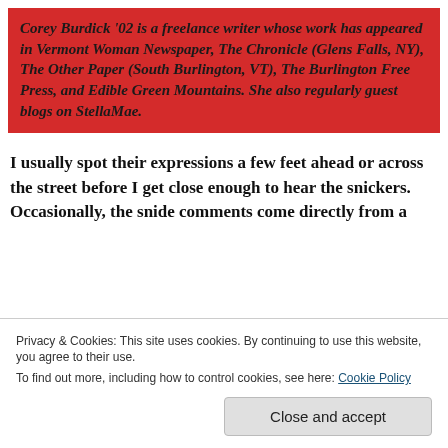Corey Burdick '02 is a freelance writer whose work has appeared in Vermont Woman Newspaper, The Chronicle (Glens Falls, NY), The Other Paper (South Burlington, VT), The Burlington Free Press, and Edible Green Mountains. She also regularly guest blogs on StellaMae.
I usually spot their expressions a few feet ahead or across the street before I get close enough to hear the snickers. Occasionally, the snide comments come directly from a
Privacy & Cookies: This site uses cookies. By continuing to use this website, you agree to their use.
To find out more, including how to control cookies, see here: Cookie Policy